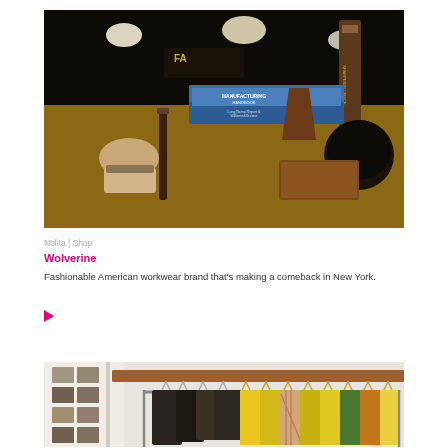[Figure (photo): Photo of a shop display table with grooming tools (brush, razor), blue binders/notebooks, and leather accessories on a wooden surface, shot at night through a window]
Nolita | Shop
Wolverine
Fashionable American workwear brand that's making a comeback in New York.
[Figure (photo): Photo of a clothing rack with various garments hanging, including yellow, green, and plaid shirts/jackets, with framed photos on the wall to the left]